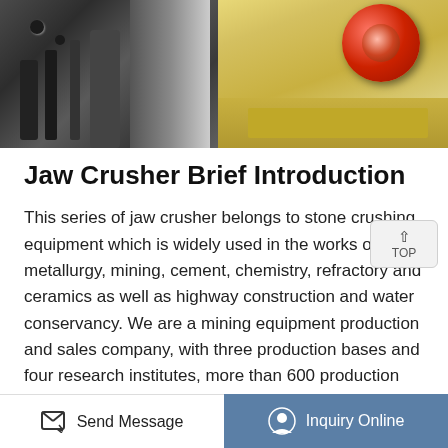[Figure (photo): Top portion of a jaw crusher machine — left side shows dark metallic mechanical components, right side shows a yellow/beige machine body with a red circular part visible at top right]
Jaw Crusher Brief Introduction
This series of jaw crusher belongs to stone crushing equipment which is widely used in the works of metallurgy, mining, cement, chemistry, refractory and ceramics as well as highway construction and water conservancy. We are a mining equipment production and sales company, with three production bases and four research institutes, more than 600 production equipment, precision production, and service globally.
Have questions? Need a quote? Consult online
Send Message   Inquiry Online